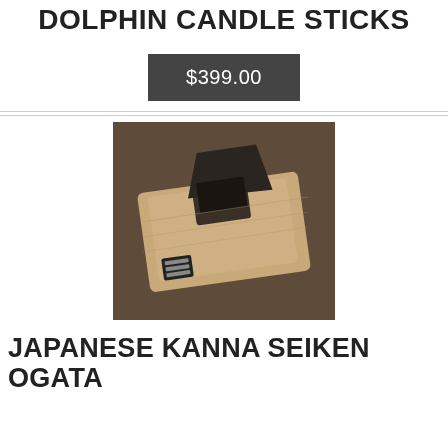MOONGLEAM GREEN 1891 PETTICOAT DOLPHIN CANDLE STICKS
$399.00
[Figure (photo): A Japanese Kanna Seiken Ogata hand plane (kanna) with a natural wood body and dark metal blade, photographed on a dark wooden surface. A small label is visible on the side of the plane.]
JAPANESE KANNA SEIKEN OGATA